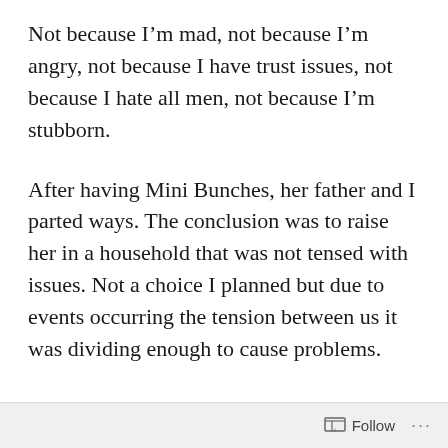Not because I'm mad, not because I'm angry, not because I have trust issues, not because I hate all men, not because I'm stubborn.
After having Mini Bunches, her father and I parted ways. The conclusion was to raise her in a household that was not tensed with issues. Not a choice I planned but due to events occurring the tension between us it was dividing enough to cause problems.
Personally I was becoming someone I was not. That girlfriend who watched every step and analysis every word. I would spend hours thinking of situations some that had occurred
Follow ···